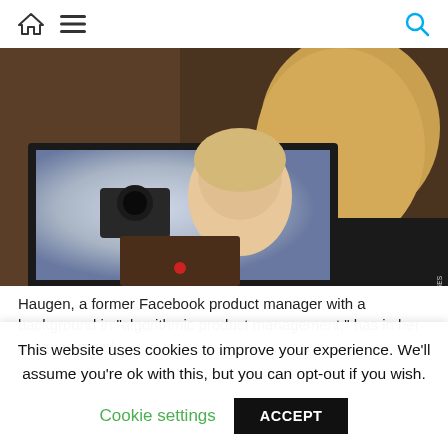Home | Menu | Search
[Figure (photo): A person seen from behind watching a monitor screen showing a blonde woman speaking; congressional hearing setting with camera equipment visible in background. Watermark text on right side of image.]
Haugen, a former Facebook product manager with a background in "algorithmic product management," has in her critiques mainly
This website uses cookies to improve your experience. We'll assume you're ok with this, but you can opt-out if you wish.
Cookie settings   ACCEPT